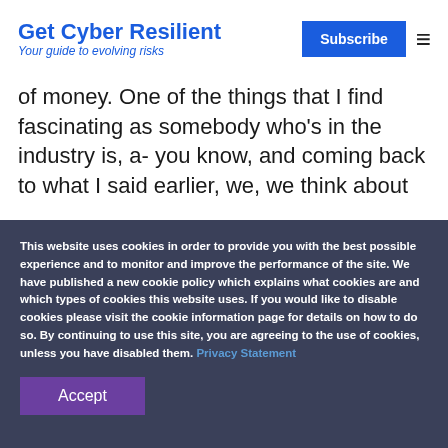Get Cyber Resilient — Your guide to evolving risks
of money. One of the things that I find fascinating as somebody who's in the industry is, a- you know, and coming back to what I said earlier, we, we think about
This website uses cookies in order to provide you with the best possible experience and to monitor and improve the performance of the site. We have published a new cookie policy which explains what cookies are and which types of cookies this website uses. If you would like to disable cookies please visit the cookie information page for details on how to do so. By continuing to use this site, you are agreeing to the use of cookies, unless you have disabled them. Privacy Statement
Accept